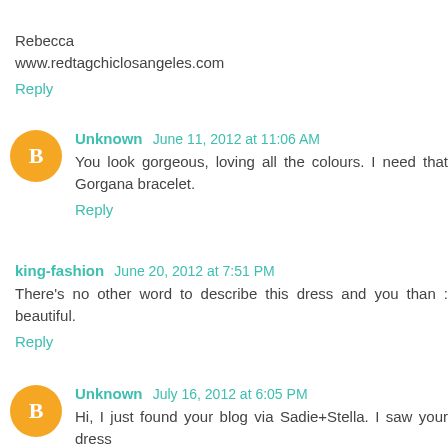Rebecca
www.redtagchiclosangeles.com
Reply
Unknown June 11, 2012 at 11:06 AM
You look gorgeous, loving all the colours. I need that Gorgana bracelet.
Reply
king-fashion June 20, 2012 at 7:51 PM
There's no other word to describe this dress and you than : beautiful.
Reply
Unknown July 16, 2012 at 6:05 PM
Hi, I just found your blog via Sadie+Stella. I saw your dress